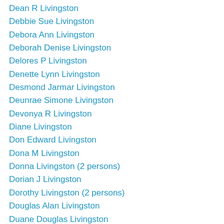Dean R Livingston
Debbie Sue Livingston
Debora Ann Livingston
Deborah Denise Livingston
Delores P Livingston
Denette Lynn Livingston
Desmond Jarmar Livingston
Deunrae Simone Livingston
Devonya R Livingston
Diane Livingston
Don Edward Livingston
Dona M Livingston
Donna Livingston (2 persons)
Dorian J Livingston
Dorothy Livingston (2 persons)
Douglas Alan Livingston
Duane Douglas Livingston
Elizabeth Livingston (2 persons)